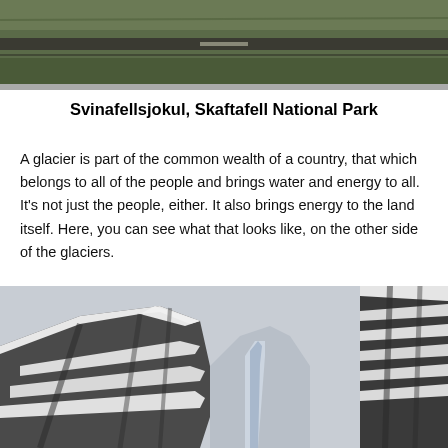[Figure (photo): Top portion of a landscape photo showing flat green/brown terrain with a road, partially cropped at top of page]
Svinafellsjokul, Skaftafell National Park
A glacier is part of the common wealth of a country, that which belongs to all of the people and brings water and energy to all. It's not just the people, either. It also brings energy to the land itself. Here, you can see what that looks like, on the other side of the glaciers.
[Figure (photo): Photo of snow-capped rocky mountain cliffs with dark layered rock striations and a frozen waterfall or ice formation in the center gap between two cliff faces, under an overcast grey sky]